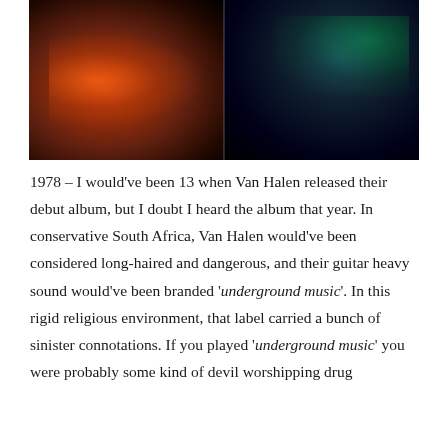[Figure (photo): Concert photo split into two panels: left panel shows a drummer illuminated by orange/red stage lighting, right panel shows a guitarist with green lighting effects, both against dark backgrounds]
1978 – I would've been 13 when Van Halen released their debut album, but I doubt I heard the album that year. In conservative South Africa, Van Halen would've been considered long-haired and dangerous, and their guitar heavy sound would've been branded 'underground music'. In this rigid religious environment, that label carried a bunch of sinister connotations. If you played 'underground music' you were probably some kind of devil worshipping drug